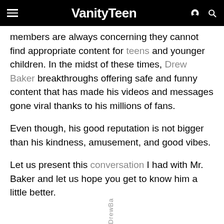VanityTeen
members are always concerning they cannot find appropriate content for teens and younger children. In the midst of these times, Drew Baker breakthroughs offering safe and funny content that has made his videos and messages gone viral thanks to his millions of fans.
Even though, his good reputation is not bigger than his kindness, amusement, and good vibes.
Let us present this conversation I had with Mr. Baker and let us hope you get to know him a little better.
DrewBa